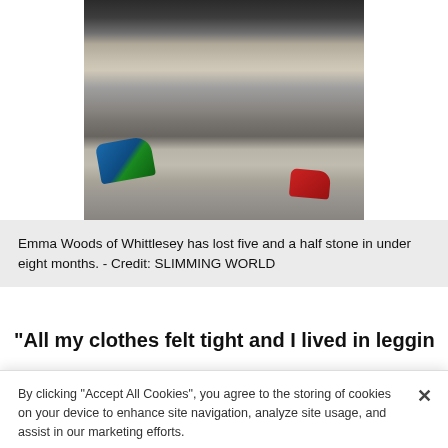[Figure (photo): Close-up photo of a person's legs in grey sweatpants/leggings sitting on a carpet, with children's shoes visible - a blue/green shoe on the left and a red shoe on the right.]
Emma Woods of Whittlesey has lost five and a half stone in under eight months. - Credit: SLIMMING WORLD
"All my clothes felt tight and I lived in leggings because
By clicking "Accept All Cookies", you agree to the storing of cookies on your device to enhance site navigation, analyze site usage, and assist in our marketing efforts.